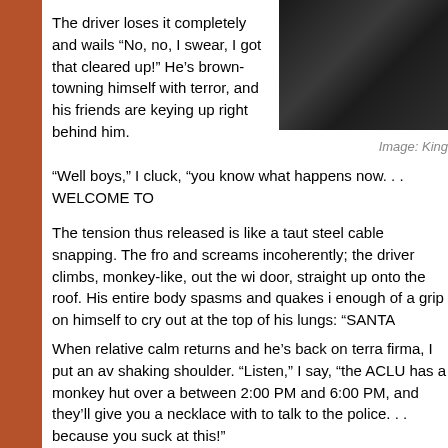[Figure (photo): Dark photograph, partially visible in top right corner of page]
Image: King
The driver loses it completely and wails “No, no, I swear, I got that cleared up!” He’s brown-towning himself with terror, and his friends are keying up right behind him.
“Well boys,” I cluck, “you know what happens now. . . WELCOME TO
The tension thus released is like a taut steel cable snapping. The fro and screams incoherently; the driver climbs, monkey-like, out the wi door, straight up onto the roof. His entire body spasms and quakes i enough of a grip on himself to cry out at the top of his lungs: “SANTA
When relative calm returns and he’s back on terra firma, I put an av shaking shoulder. “Listen,” I say, “the ACLU has a monkey hut over a between 2:00 PM and 6:00 PM, and they’ll give you a necklace with to talk to the police. . . because you suck at this!”
How many of us suck at talking to cops? Considering the legal backu City, we are protected like nowhere else when we are on the playa. T after the burn, Lawyers for Burners is there to lend you a helping han interested in collecting your anecdotes regarding contact with the po